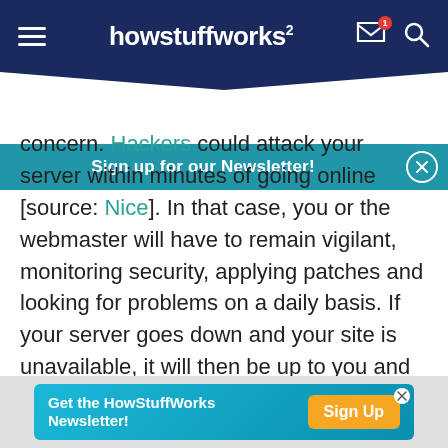howstuffworks
Sign up for our Newsletter!
concern. Hackers could attack your server within minutes of going online [source: Nice]. In that case, you or the webmaster will have to remain vigilant, monitoring security, applying patches and looking for problems on a daily basis. If your server goes down and your site is unavailable, it will then be up to you and your webmaster to fix things. There will be no company to turn to and no promises of 99.9 percent uptime or data backup solutions.
Get the HowStuffWorks Newsletter! Sign Up